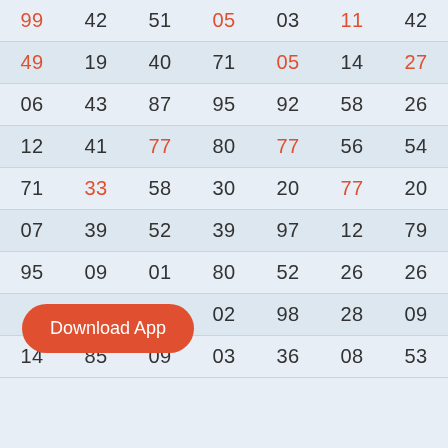| 99 | 42 | 51 | 05 | 03 | 11 | 42 |
| 49 | 19 | 40 | 71 | 05 | 14 | 27 |
| 06 | 43 | 87 | 95 | 92 | 58 | 26 |
| 12 | 41 | 77 | 80 | 77 | 56 | 54 |
| 71 | 33 | 58 | 30 | 20 | 77 | 20 |
| 07 | 39 | 52 | 39 | 97 | 12 | 79 |
| 95 | 09 | 01 | 80 | 52 | 26 | 26 |
| ? | ? | 88 | 02 | 98 | 28 | 09 |
| 14 | 85 | 09 | 03 | 36 | 08 | 53 |
[Figure (other): Orange rounded rectangle button overlay with text 'Download App']